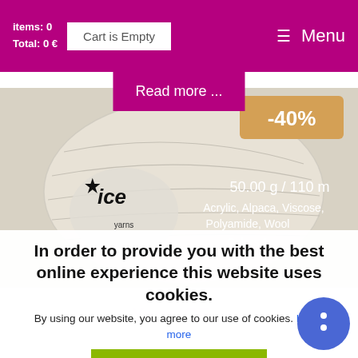items: 0  Total: 0 €  Cart is Empty  Menu
Read more ...
[Figure (photo): Ball of beige/cream chunky yarn from ICE Yarns brand with label visible. Discount badge showing -40%. Product text overlaid: 50.00 g / 110 m, Acrylic, Alpaca, Viscose, Polyamide, Wool, Colors 1]
In order to provide you with the best online experience this website uses cookies.
By using our website, you agree to our use of cookies. Learn more
I AGREE